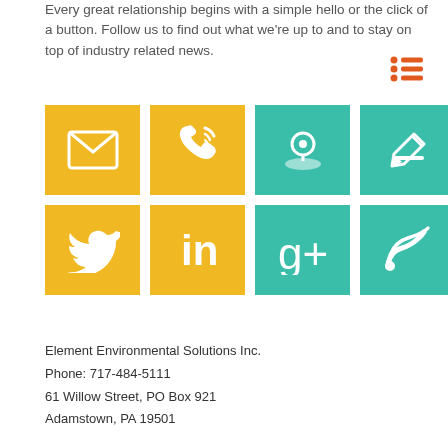Every great relationship begins with a simple hello or the click of a button. Follow us to find out what we're up to and to stay on top of industry related news.
[Figure (infographic): Orange list/menu icon with three horizontal lines and dots]
[Figure (infographic): 2x4 grid of colored icon tiles: row 1 (yellow email, yellow phone, teal location pin, teal pencil); row 2 (yellow Twitter bird, yellow LinkedIn 'in', teal Google+, teal RSS feed)]
Element Environmental Solutions Inc.
Phone: 717-484-5111
61 Willow Street, PO Box 921
Adamstown, PA 19501